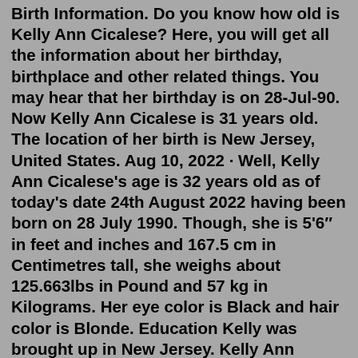Birth Information. Do you know how old is Kelly Ann Cicalese? Here, you will get all the information about her birthday, birthplace and other related things. You may hear that her birthday is on 28-Jul-90. Now Kelly Ann Cicalese is 31 years old. The location of her birth is New Jersey, United States. Aug 10, 2022 · Well, Kelly Ann Cicalese's age is 32 years old as of today's date 24th August 2022 having been born on 28 July 1990. Though, she is 5'6″ in feet and inches and 167.5 cm in Centimetres tall, she weighs about 125.663lbs in Pound and 57 kg in Kilograms. Her eye color is Black and hair color is Blonde. Education Kelly was brought up in New Jersey. Kelly Ann Cicalese is an American award-winning meteorologist currently working at WCVB based in Boston, Massachusetts. Kelly Ann Cicalese Age. Kelly was born in New Jersey, United States. However, her exact day and year of birth are not known to the public.Kelly Ann Cicalese was born in New Jersey, the United States. Every year she celebrates her birthday on 28th July